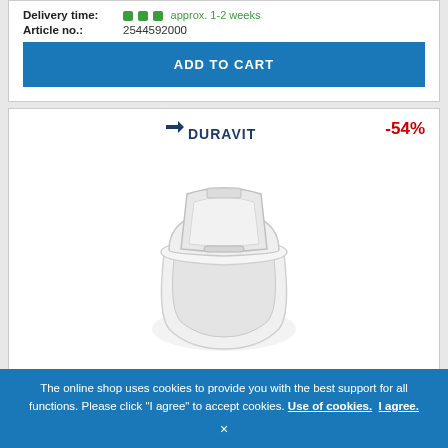Delivery time: approx. 1-2 weeks
Article no.: 2544592000
ADD TO CART
[Figure (logo): Duravit brand logo in dark blue]
-54%
[Figure (photo): White wall-hung Duravit toilet with electronic bidet seat lid, photographed on white background]
The online shop uses cookies to provide you with the best support for all functions. Please click "I agree" to accept cookies. Use of cookies. I agree.